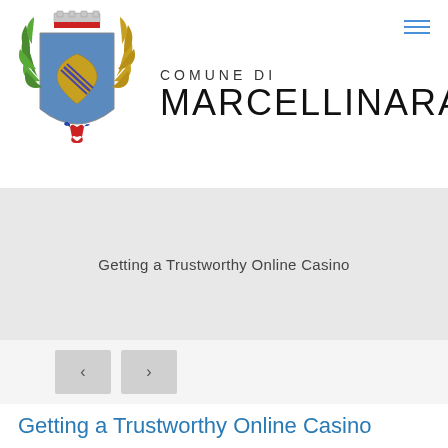[Figure (logo): Coat of arms / municipal seal of Comune di Marcellinara: heraldic shield with golden heart on blue background, laurel branches, mural crown on top, and Italian flag ribbon at bottom]
COMUNE DI MARCELLINARA
[Figure (other): Hamburger menu icon (three horizontal blue lines) in top right corner]
Getting a Trustworthy Online Casino
[Figure (other): Navigation previous/next buttons: left arrow button and right arrow button]
Getting a Trustworthy Online Casino